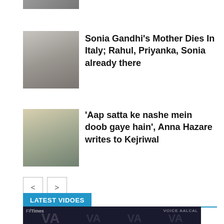[Figure (photo): Partial photo at top of page, cropped]
[Figure (photo): Photo of Sonia Gandhi and another person]
Sonia Gandhi’s Mother Dies In Italy; Rahul, Priyanka, Sonia already there
[Figure (photo): Photo of Anna Hazare and Arvind Kejriwal]
‘Aap satta ke nashe mein doob gaye hain’, Anna Hazare writes to Kejriwal
LATEST VIDOES
[Figure (screenshot): Video thumbnail: Gujarati Artist- Sister and Brother ... with VA Voice Aalcal logo]